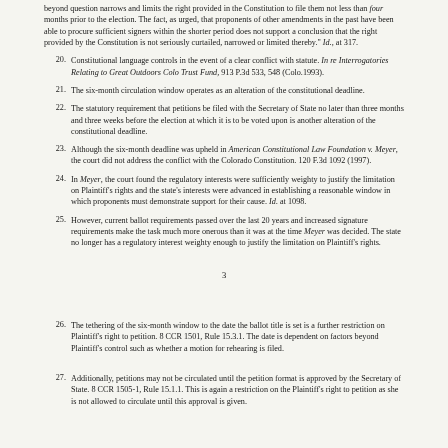beyond question narrows and limits the right provided in the Constitution to file them not less than four months prior to the election. The fact, as urged, that proponents of other amendments in the past have been able to procure sufficient signers within the shorter period does not support a conclusion that the right provided by the Constitution is not seriously curtailed, narrowed or limited thereby." Id., at 317.
20. Constitutional language controls in the event of a clear conflict with statute. In re Interrogatories Relating to Great Outdoors Colo Trust Fund, 913 P.3d 533, 548 (Colo.1993).
21. The six-month circulation window operates as an alteration of the constitutional deadline.
22. The statutory requirement that petitions be filed with the Secretary of State no later than three months and three weeks before the election at which it is to be voted upon is another alteration of the constitutional deadline.
23. Although the six-month deadline was upheld in American Constitutional Law Foundation v. Meyer, the court did not address the conflict with the Colorado Constitution. 120 F.3d 1092 (1997).
24. In Meyer, the court found the regulatory interests were sufficiently weighty to justify the limitation on Plaintiff's rights and the state's interests were advanced in establishing a reasonable window in which proponents must demonstrate support for their cause. Id. at 1098.
25. However, current ballot requirements passed over the last 20 years and increased signature requirements make the task much more onerous than it was at the time Meyer was decided. The state no longer has a regulatory interest weighty enough to justify the limitation on Plaintiff's rights.
3
26. The tethering of the six-month window to the date the ballot title is set is a further restriction on Plaintiff's right to petition. 8 CCR 1501, Rule 15.3.1. The date is dependent on factors beyond Plaintiff's control such as whether a motion for rehearing is filed.
27. Additionally, petitions may not be circulated until the petition format is approved by the Secretary of State. 8 CCR 1505-1, Rule 15.1.1. This is again a restriction on the Plaintiff's right to petition as she is not allowed to circulate until this approval is given.